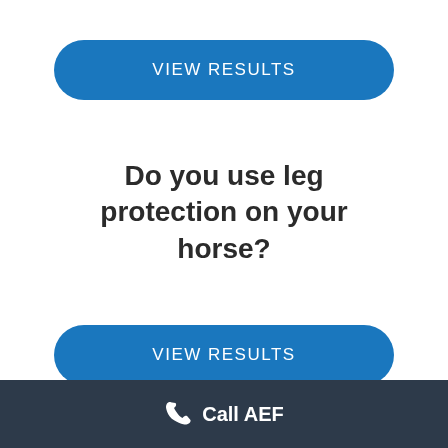[Figure (other): Blue rounded button labeled VIEW RESULTS]
Do you use leg protection on your horse?
[Figure (other): Blue rounded button labeled VIEW RESULTS]
Call AEF